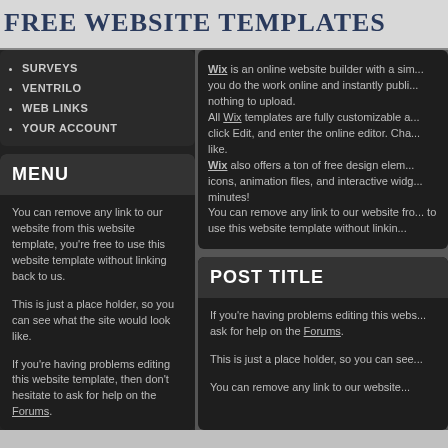FREE WEBSITE TEMPLATES
SURVEYS
VENTRILO
WEB LINKS
YOUR ACCOUNT
MENU
You can remove any link to our website from this website template, you're free to use this website template without linking back to us.
This is just a place holder, so you can see what the site would look like.
If you're having problems editing this website template, then don't hesitate to ask for help on the Forums.
Want an easier solution for a Free Website? Head straight to Wix and immediately start customizing your website!
Wix is an online website builder with a sim... you do the work online and instantly publi... nothing to upload.
All Wix templates are fully customizable a... click Edit, and enter the online editor. Cha... like.
Wix also offers a ton of free design elem... icons, animation files, and interactive widg... minutes!
You can remove any link to our website fro... to use this website template without linkin...
POST TITLE
If you're having problems editing this webs... ask for help on the Forums.
This is just a place holder, so you can see...
You can remove any link to our website...